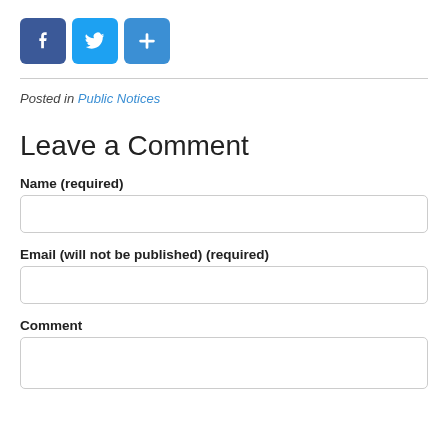[Figure (other): Social sharing icons: Facebook (blue square with 'f'), Twitter (light blue square with bird), and a blue share/plus button]
Posted in Public Notices
Leave a Comment
Name (required)
Email (will not be published) (required)
Comment